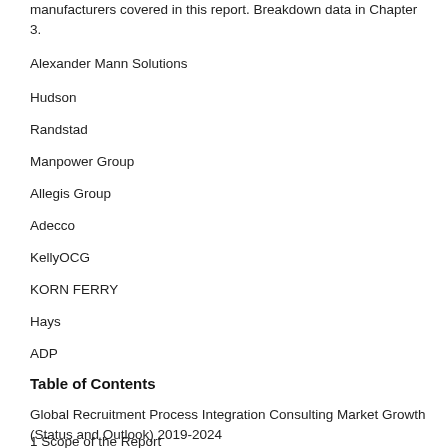manufacturers covered in this report. Breakdown data in Chapter 3.
Alexander Mann Solutions
Hudson
Randstad
Manpower Group
Allegis Group
Adecco
KellyOCG
KORN FERRY
Hays
ADP
Table of Contents
Global Recruitment Process Integration Consulting Market Growth (Status and Outlook) 2019-2024
1 Scope of the Report